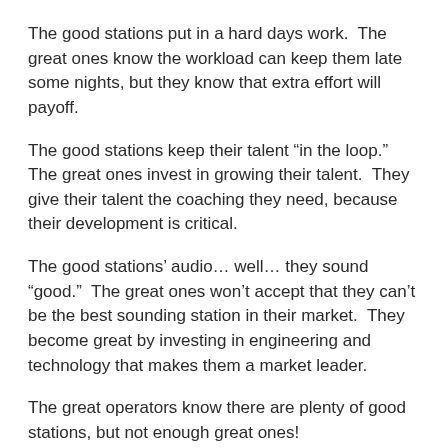The good stations put in a hard days work.  The great ones know the workload can keep them late some nights, but they know that extra effort will payoff.
The good stations keep their talent “in the loop.”  The great ones invest in growing their talent.  They give their talent the coaching they need, because their development is critical.
The good stations’ audio… well… they sound “good.”  The great ones won’t accept that they can’t be the best sounding station in their market.  They become great by investing in engineering and technology that makes them a market leader.
The great operators know there are plenty of good stations, but not enough great ones!
Greatness will impact lives.